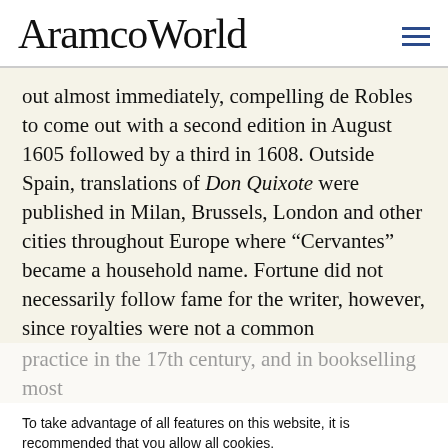AramcoWorld
out almost immediately, compelling de Robles to come out with a second edition in August 1605 followed by a third in 1608. Outside Spain, translations of Don Quixote were published in Milan, Brussels, London and other cities throughout Europe where “Cervantes” became a household name. Fortune did not necessarily follow fame for the writer, however, since royalties were not a common
practice in the 17th century, and in bookselling most
To take advantage of all features on this website, it is recommended that you allow all cookies.
Read more
Deny
Allow
long before Don Quixote’s success inspired pirate and even conceal editions. In 1611, a
Alfonso Fernández de remains a mystery, published an unauthorized sequel, and this prompted Cervantes